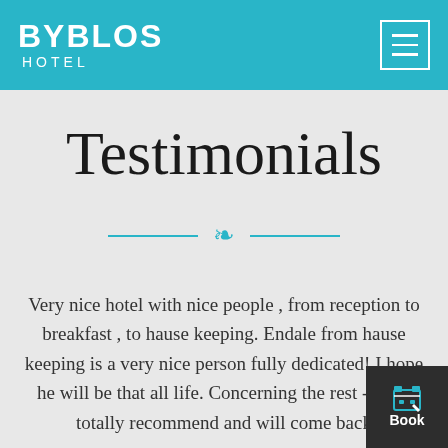BYBLOS HOTEL
Testimonials
Very nice hotel with nice people , from reception to breakfast , to hause keeping. Endale from hause keeping is a very nice person fully dedicated! I hope he will be that all life. Concerning the rest - great totally recommend and will come back